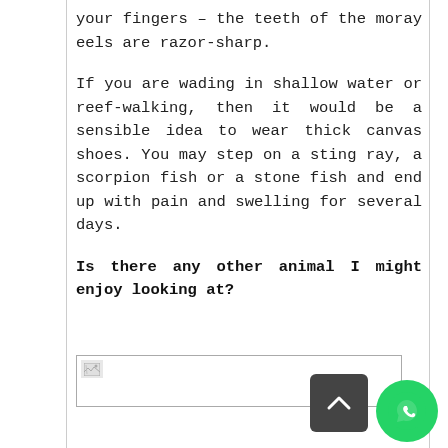your fingers – the teeth of the moray eels are razor-sharp.
If you are wading in shallow water or reef-walking, then it would be a sensible idea to wear thick canvas shoes. You may step on a sting ray, a scorpion fish or a stone fish and end up with pain and swelling for several days.
Is there any other animal I might enjoy looking at?
[Figure (photo): Broken image placeholder — a small broken image icon inside a bordered rectangle, representing a photo that failed to load.]